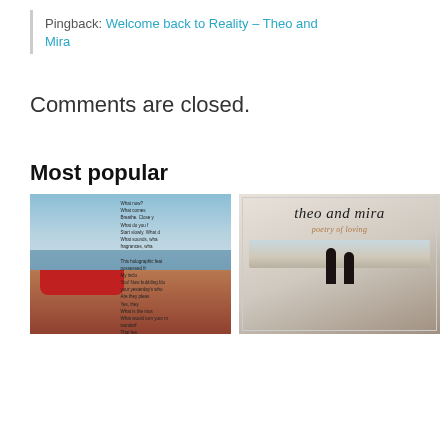Pingback: Welcome back to Reality – Theo and Mira
Comments are closed.
Most popular
[Figure (photo): Left: lakeside scene with red canoe and poem text overlay. Right: book cover 'Theo and Mira – poetry of loving' with two silhouettes on a beach.]